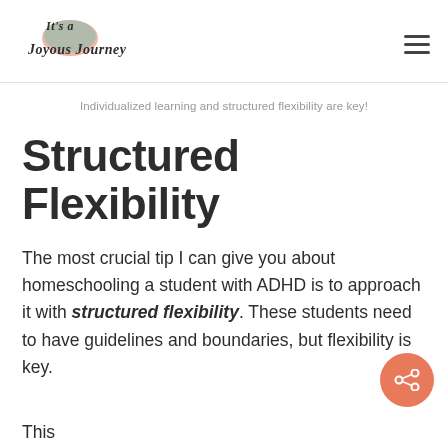[Figure (logo): It's a Joyous Journey blog logo with decorative script text and watercolor globe illustration]
Individualized learning and structured flexibility are key!
Structured Flexibility
The most crucial tip I can give you about homeschooling a student with ADHD is to approach it with structured flexibility. These students need to have guidelines and boundaries, but flexibility is key.
This...